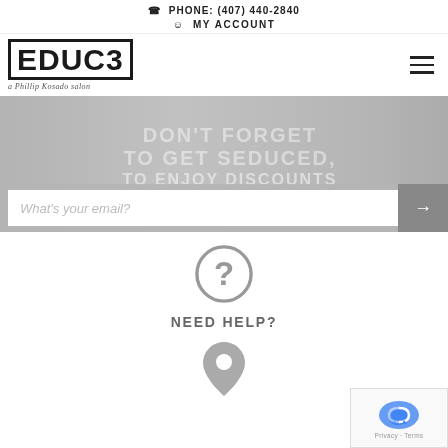✆ PHONE: (407) 440-2840
👤 MY ACCOUNT
[Figure (logo): EDUC3 logo - a Phillip Kosado salon]
[Figure (infographic): Hero banner with faded text: DON'T FORGET TO GET SEDUCED, TO ENJOY DISCOUNTS AND PROMOTIONS! with email signup field]
[Figure (illustration): Gray question mark circle icon for NEED HELP? section]
NEED HELP?
[Figure (illustration): Gray location pin / map marker icon]